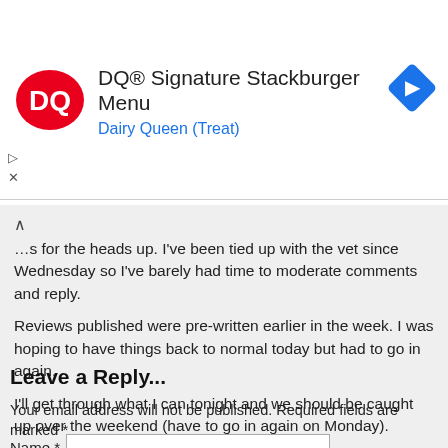[Figure (screenshot): Dairy Queen advertisement banner showing DQ logo (oval red badge with DQ letters), text 'DQ® Signature Stackburger Menu' and 'Dairy Queen (Treat)', and a blue diamond navigation icon on the right. Play and close controls on the left side.]
...s for the heads up. I've been tied up with the vet since Wednesday so I've barely had time to moderate comments and reply.

Reviews published were pre-written earlier in the week. I was hoping to have things back to normal today but had to go in again.

I'll get through what I can tonight and we should be caught up over the weekend (have to go in again on Monday).
Leave a Reply...
Your email address will not be published. Required fields are marked *
Name *